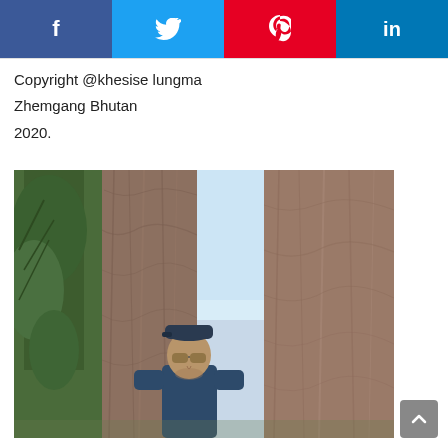[Figure (other): Social media share buttons: Facebook (blue), Twitter (light blue), Pinterest (red), LinkedIn (dark blue)]
Copyright @khesise lungma
Zhemgang Bhutan
2020.
[Figure (photo): A man wearing sunglasses and a dark cap stands in front of large tree trunks in a forested area in Zhemgang, Bhutan (2020).]